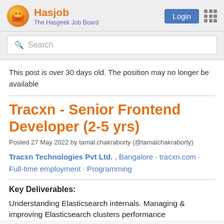Hasjob – The Hasgeek Job Board
Search
This post is over 30 days old. The position may no longer be available
Tracxn - Senior Frontend Developer (2-5 yrs)
Posted 27 May 2022 by tamal.chakraborty (@tamalchakraborty)
Tracxn Technologies Pvt Ltd. , Bangalore · tracxn.com · Full-time employment · Programming
Key Deliverables:
Understanding Elasticsearch internals. Managing & improving Elasticsearch clusters performance